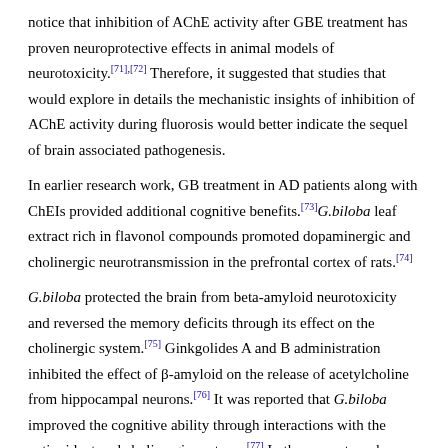notice that inhibition of AChE activity after GBE treatment has proven neuroprotective effects in animal models of neurotoxicity.[71],[72] Therefore, it suggested that studies that would explore in details the mechanistic insights of inhibition of AChE activity during fluorosis would better indicate the sequel of brain associated pathogenesis.
In earlier research work, GB treatment in AD patients along with ChEIs provided additional cognitive benefits.[73]G.biloba leaf extract rich in flavonol compounds promoted dopaminergic and cholinergic neurotransmission in the prefrontal cortex of rats.[74]
G.biloba protected the brain from beta-amyloid neurotoxicity and reversed the memory deficits through its effect on the cholinergic system.[75] Ginkgolides A and B administration inhibited the effect of β-amyloid on the release of acetylcholine from hippocampal neurons.[76] It was reported that G.biloba improved the cognitive ability through interactions with the antioxidant and cholinergic systems.[77] In the present work, treatment with various doses of GBE (50, 100, and 200 mg/kg) ameliorated fluoride toxicity by altering hippocampal AChE activity...